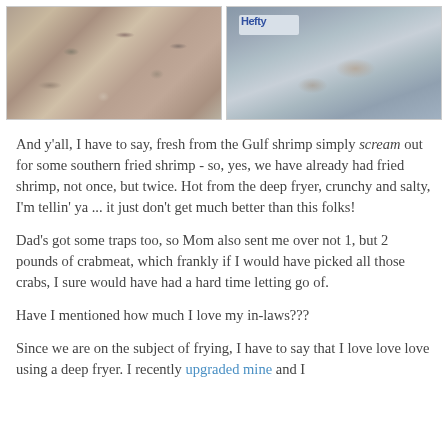[Figure (photo): Two photos side by side: left shows a pile of fresh raw shrimp, right shows shrimp in a Hefty branded bag.]
And y'all, I have to say, fresh from the Gulf shrimp simply scream out for some southern fried shrimp - so, yes, we have already had fried shrimp, not once, but twice. Hot from the deep fryer, crunchy and salty, I'm tellin' ya ... it just don't get much better than this folks!
Dad's got some traps too, so Mom also sent me over not 1, but 2 pounds of crabmeat, which frankly if I would have picked all those crabs, I sure would have had a hard time letting go of.
Have I mentioned how much I love my in-laws???
Since we are on the subject of frying, I have to say that I love love love using a deep fryer. I recently upgraded mine and I